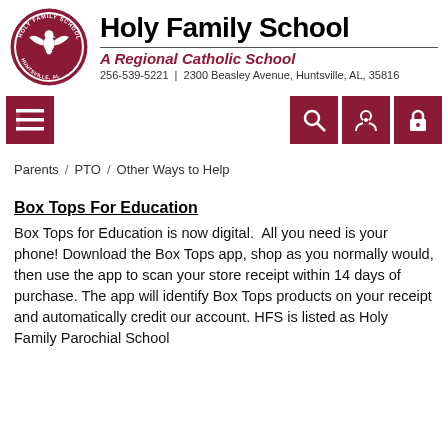[Figure (logo): Holy Family School circular logo with eagle and text 'Holy Family School, Go Eagles, Huntsville, AL']
Holy Family School
A Regional Catholic School
256-539-5221  |  2300 Beasley Avenue, Huntsville, AL, 35816
[Figure (screenshot): Navigation bar with hamburger menu icon on left and search, person, and lock icons on right, all on dark red/maroon background]
Parents  /  PTO  /  Other Ways to Help
Box Tops For Education
Box Tops for Education is now digital.  All you need is your phone! Download the Box Tops app, shop as you normally would, then use the app to scan your store receipt within 14 days of purchase. The app will identify Box Tops products on your receipt and automatically credit our account. HFS is listed as Holy Family Parochial School